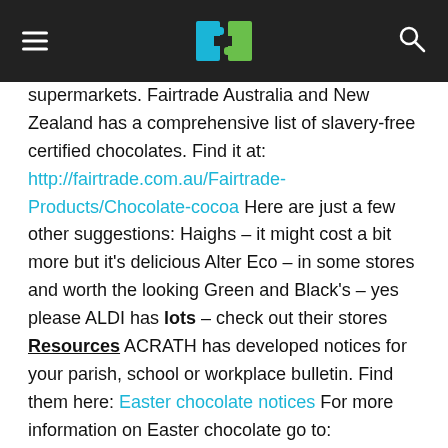ACRATH logo with hamburger menu and search icon
supermarkets. Fairtrade Australia and New Zealand has a comprehensive list of slavery-free certified chocolates. Find it at: http://fairtrade.com.au/Fairtrade-Products/Chocolate-cocoa Here are just a few other suggestions: Haighs – it might cost a bit more but it's delicious Alter Eco – in some stores and worth the looking Green and Black's – yes please ALDI has lots – check out their stores   Resources ACRATH has developed notices for your parish, school or workplace bulletin. Find them here: Easter chocolate notices For more information on Easter chocolate go to: https://acrath.org.au/take-action/slavery-free-easter/ Catholic Education Melbourne, ACRATH and the Catholic Archdiocese of Melbourne have produced a kit to help begin to make your school, hospital or workplace slavery-free. It has lots of valuable information about chocolate